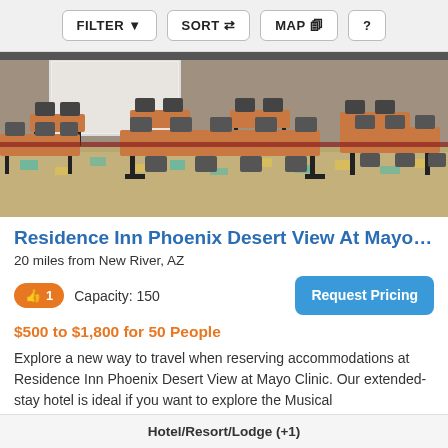FILTER  SORT  MAP  ?
[Figure (photo): Conference room with rows of rectangular tables and black chairs on a patterned carpet, with a projection screen at the front.]
Residence Inn Phoenix Desert View At Mayo Clinic
20 miles from New River, AZ
👍 1   Capacity: 150
$500 to $1,800 for 50 People
Explore a new way to travel when reserving accommodations at Residence Inn Phoenix Desert View at Mayo Clinic. Our extended-stay hotel is ideal if you want to explore the Musical
Hotel/Resort/Lodge (+1)